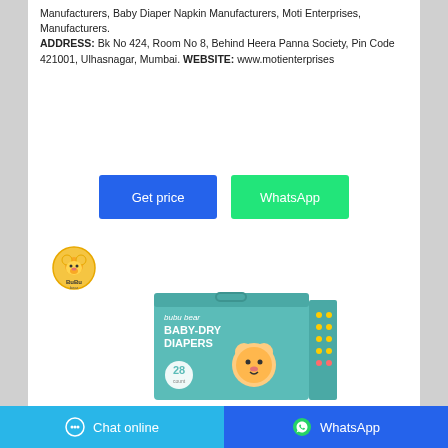Manufacturers, Baby Diaper Napkin Manufacturers, Moti Enterprises, Manufacturers. ADDRESS: Bk No 424, Room No 8, Behind Heera Panna Society, Pin Code 421001, Ulhasnagar, Mumbai. WEBSITE: www.motienterprises
[Figure (other): Blue 'Get price' button and green 'WhatsApp' button side by side]
[Figure (logo): BuBu Bear logo - cartoon bear face in yellow/orange]
[Figure (photo): Bubu Bear Baby-Dry Diapers product box in teal/mint color with cartoon bear character, 28 count]
Chat online   WhatsApp